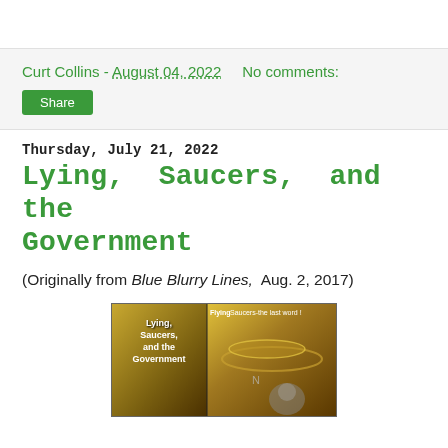Curt Collins - August 04, 2022   No comments:
Share
Thursday, July 21, 2022
Lying, Saucers, and the Government
(Originally from Blue Blurry Lines, Aug. 2, 2017)
[Figure (photo): Book cover image for 'Lying, Saucers, and the Government' showing golden/brown retro UFO illustration with text 'Flying Saucers-the last word!']